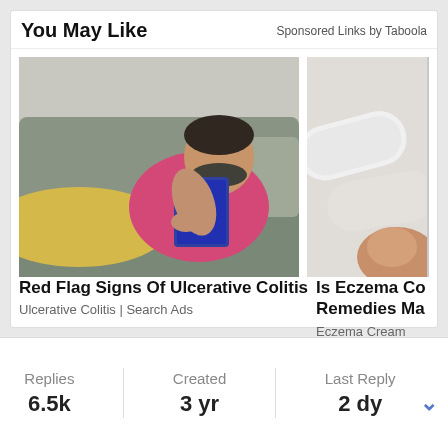You May Like
Sponsored Links by Taboola
[Figure (photo): Man in pink shirt lying on a grey couch holding a blue tablet, appearing to be asleep or resting.]
[Figure (photo): Close-up blurred photo showing white cylindrical objects, likely related to eczema cream or medical product.]
Red Flag Signs Of Ulcerative Colitis
Ulcerative Colitis | Search Ads
Is Eczema Cream Remedies Ma
Eczema Cream
Replies
6.5k
Created
3 yr
Last Reply
2 dy